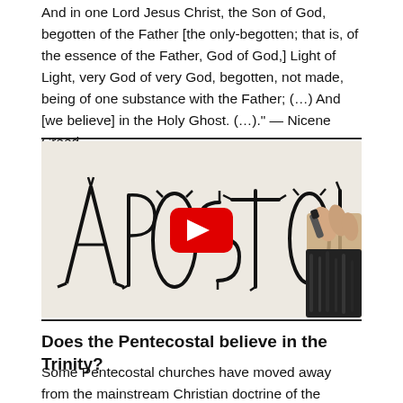And in one Lord Jesus Christ, the Son of God, begotten of the Father [the only-begotten; that is, of the essence of the Father, God of God,] Light of Light, very God of very God, begotten, not made, being of one substance with the Father; (…) And [we believe] in the Holy Ghost. (…)." — Nicene Creed.
[Figure (screenshot): A YouTube video thumbnail showing the word 'APOSTOLI' written in stylized calligraphy lettering on a white surface, with a hand holding a marker visible on the right side. A red YouTube play button is centered on the image.]
Does the Pentecostal believe in the Trinity?
Some Pentecostal churches have moved away from the mainstream Christian doctrine of the Trinity. They believe